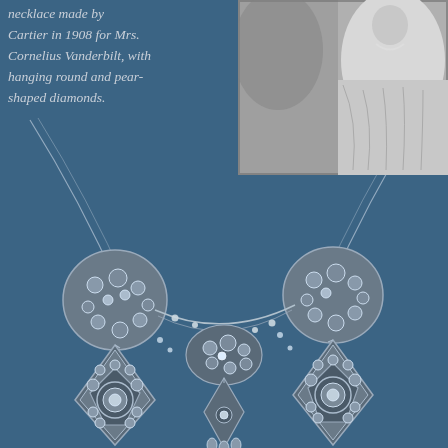[Figure (photo): Close-up photograph of an elaborate diamond necklace by Cartier set against a blue background, showing three large pendant drops adorned with round and pear-shaped diamonds, connected by delicate chains with smaller diamond clusters.]
[Figure (photo): Black and white portrait photograph inset in the upper right corner showing Mrs. Cornelius Vanderbilt wearing the necklace.]
necklace made by Cartier in 1908 for Mrs. Cornelius Vanderbilt, with hanging round and pear-shaped diamonds.